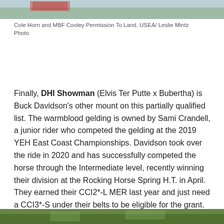[Figure (photo): Partial photo of a horse and rider near water, cropped at top of page]
Cole Horn and MBF Cooley Permission To Land. USEA/ Leslie Mintz Photo
Finally, DHI Showman (Elvis Ter Putte x Bubertha) is Buck Davidson's other mount on this partially qualified list. The warmblood gelding is owned by Sami Crandell, a junior rider who competed the gelding at the 2019 YEH East Coast Championships. Davidson took over the ride in 2020 and has successfully competed the horse through the Intermediate level, recently winning their division at the Rocking Horse Spring H.T. in April. They earned their CCI2*-L MER last year and just need a CCI3*-S under their belts to be eligible for the grant.
[Figure (photo): Partial photo visible at bottom of page, green foliage]